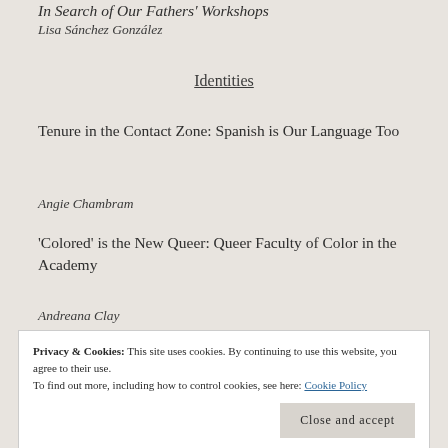In Search of Our Fathers' Workshops
Lisa Sánchez González
Identities
Tenure in the Contact Zone: Spanish is Our Language Too
Angie Chambram
'Colored' is the New Queer: Queer Faculty of Color in the Academy
Andreana Clay
Privacy & Cookies: This site uses cookies. By continuing to use this website, you agree to their use.
To find out more, including how to control cookies, see here: Cookie Policy
Close and accept